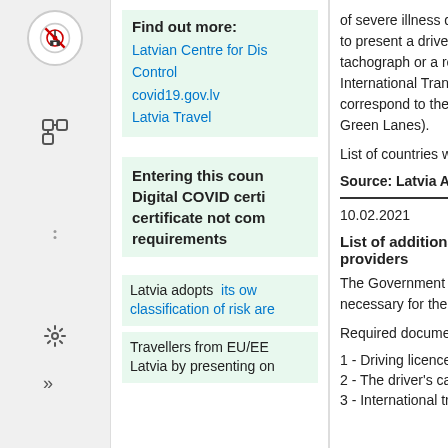Find out more:
Latvian Centre for Disease Control
covid19.gov.lv
Latvia Travel
Entering this country requires a Digital COVID certificate. Digital COVID certificate not compliant with requirements
Latvia adopts its own classification of risk areas
Travellers from EU/EEA can enter Latvia by presenting on
of severe illness during to present a driver's licence, tachograph or a record International Transport correspond to the temporary Green Lanes).
List of countries with high
Source: Latvia Autos
10.02.2021
List of additional documents for providers
The Government of the necessary for the employment
Required documents:
1 - Driving licence.
2 - The driver's card of
3 - International transport